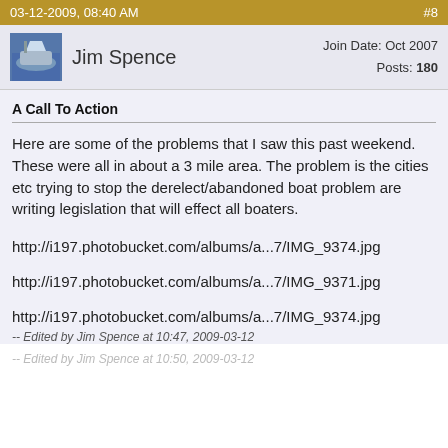03-12-2009, 08:40 AM   #8
Jim Spence   Join Date: Oct 2007  Posts: 180
A Call To Action
Here are some of the problems that I saw this past weekend. These were all in about a 3 mile area. The problem is the cities etc trying to stop the derelect/abandoned boat problem are writing legislation that will effect all boaters.
http://i197.photobucket.com/albums/a...7/IMG_9374.jpg
http://i197.photobucket.com/albums/a...7/IMG_9371.jpg
http://i197.photobucket.com/albums/a...7/IMG_9374.jpg
-- Edited by Jim Spence at 10:47, 2009-03-12
-- Edited by Jim Spence at 10:50, 2009-03-12